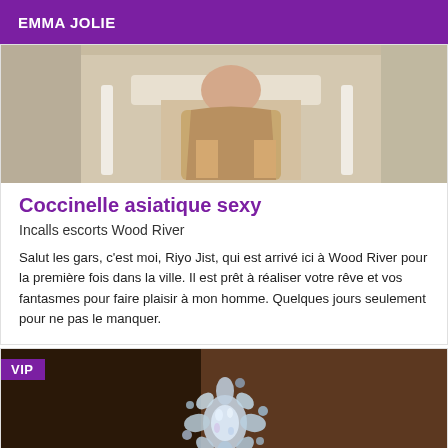EMMA JOLIE
[Figure (photo): Photo of a person wearing a leopard print dress seated on a white chair]
Coccinelle asiatique sexy
Incalls escorts Wood River
Salut les gars, c'est moi, Riyo Jist, qui est arrivé ici à Wood River pour la première fois dans la ville. Il est prêt à réaliser votre rêve et vos fantasmes pour faire plaisir à mon homme. Quelques jours seulement pour ne pas le manquer.
[Figure (photo): Close-up photo of a sparkling crystal brooch on dark background with VIP badge]